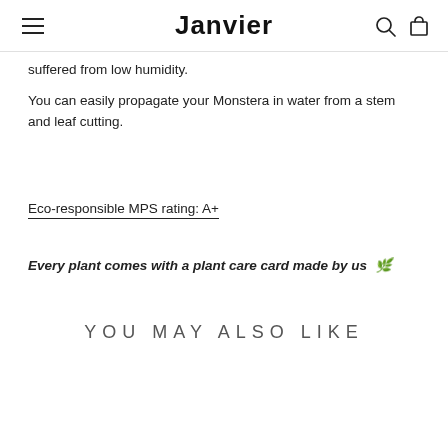Janvier
suffered from low humidity.
You can easily propagate your Monstera in water from a stem and leaf cutting.
Eco-responsible MPS rating: A+
Every plant comes with a plant care card made by us 🌱
YOU MAY ALSO LIKE